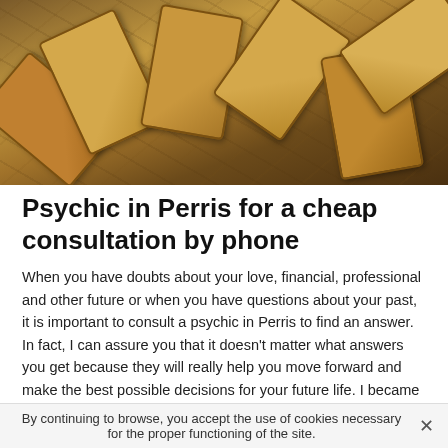[Figure (photo): Tarot cards spread on a dark wooden surface, cards appear aged and brownish/golden, with occult illustrations]
Psychic in Perris for a cheap consultation by phone
When you have doubts about your love, financial, professional and other future or when you have questions about your past, it is important to consult a psychic in Perris to find an answer. In fact, I can assure you that it doesn't matter what answers you get because they will really help you move forward and make the best possible decisions for your future life. I became a psychic medium in Los Angeles just to help people who are always asking questions but can't find the answer to their questions. In
By continuing to browse, you accept the use of cookies necessary for the proper functioning of the site.